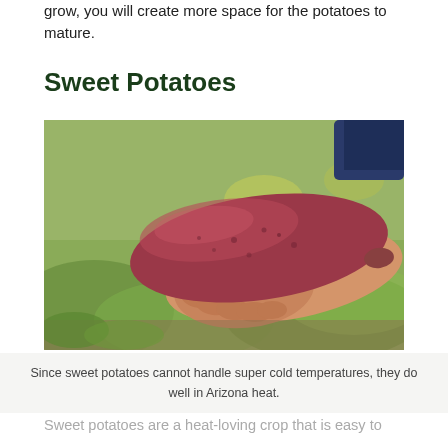grow, you will create more space for the potatoes to mature.
Sweet Potatoes
[Figure (photo): A hand holding a large sweet potato, with a blurred garden background featuring green leafy plants.]
Since sweet potatoes cannot handle super cold temperatures, they do well in Arizona heat.
Sweet potatoes are a heat-loving crop that is easy to